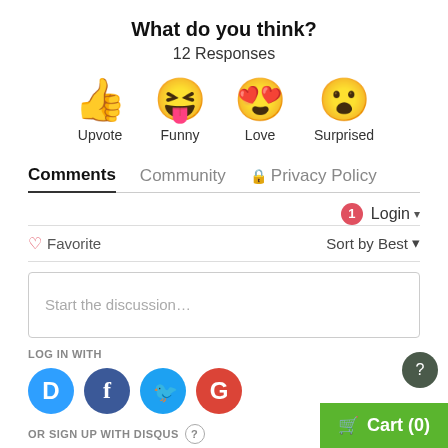What do you think?
12 Responses
[Figure (illustration): Four emoji reaction icons: thumbs up (Upvote), laughing face with tongue (Funny), heart eyes face (Love), surprised face (Surprised)]
Comments   Community   🔒 Privacy Policy
🔔1   Login ▾
♡ Favorite    Sort by Best ▾
Start the discussion…
LOG IN WITH
[Figure (logo): Social login icons: Disqus (D), Facebook (f), Twitter bird, Google (G)]
OR SIGN UP WITH DISQUS ?
Cart (0)